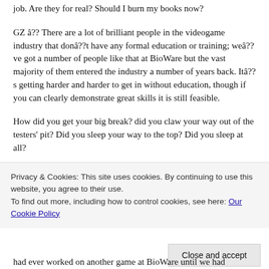job. Are they for real? Should I burn my books now?
GZ â?? There are a lot of brilliant people in the videogame industry that donâ??t have any formal education or training; weâ??ve got a number of people like that at BioWare but the vast majority of them entered the industry a number of years back. Itâ??s getting harder and harder to get in without education, though if you can clearly demonstrate great skills it is still feasible.
How did you get your big break? did you claw your way out of the testers' pit? Did you sleep your way to the top? Did you sleep at all?
RAM â?? We just committed ourselves, were lucky to find some great people to work with and we started making games! After starting our own company it was certainly
Privacy & Cookies: This site uses cookies. By continuing to use this website, you agree to their use.
To find out more, including how to control cookies, see here: Our Cookie Policy
had ever worked on another game at BioWare until we had